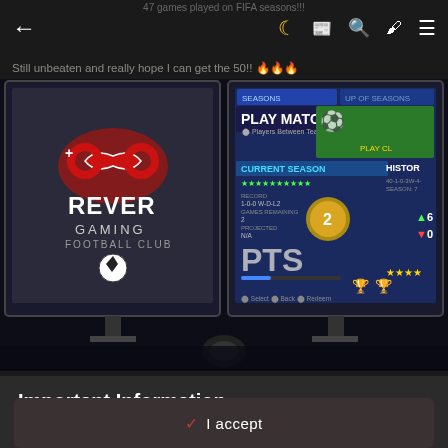← 🌙 [news icon] [search icon] [brush icon] ≡
47 games played on FIFA seasons!!!
Still unbeaten and really hope I can get the 50!! 🔥🔥🔥
[Figure (screenshot): Screenshot of two monitors. Left monitor shows Forever Gaming Football Club logo with infinity symbol and soccer ball. Right monitor shows FIFA game UI with 'PLAY MATCH', 'CURRENT SEASON' with stats showing record, games remaining, projected, and PTS displayed, along with HISTORY section showing 6 wins and 0 losses with star rating.]
Important Information
By using this site, you agree to our Terms of Use and Privacy Policy
✓ I accept